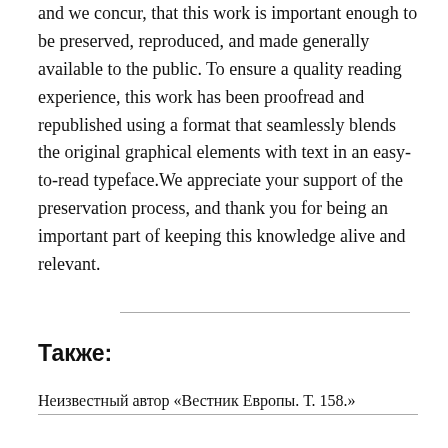and we concur, that this work is important enough to be preserved, reproduced, and made generally available to the public. To ensure a quality reading experience, this work has been proofread and republished using a format that seamlessly blends the original graphical elements with text in an easy-to-read typeface.We appreciate your support of the preservation process, and thank you for being an important part of keeping this knowledge alive and relevant.
Также:
Неизвестный автор «Вестник Европы. Т. 158.»